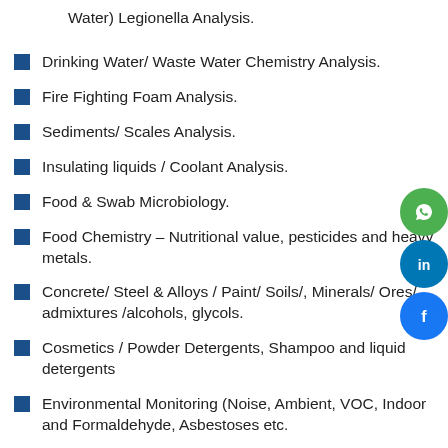Water) Legionella Analysis.
Drinking Water/ Waste Water Chemistry Analysis.
Fire Fighting Foam Analysis.
Sediments/ Scales Analysis.
Insulating liquids / Coolant Analysis.
Food & Swab Microbiology.
Food Chemistry – Nutritional value, pesticides and heavy metals.
Concrete/ Steel & Alloys / Paint/ Soils/, Minerals/ Ores/ admixtures /alcohols, glycols.
Cosmetics / Powder Detergents, Shampoo and liquid detergents
Environmental Monitoring (Noise, Ambient, VOC, Indoor and Formaldehyde, Asbestoses etc.
[Figure (infographic): Social media icons: WhatsApp (green), LinkedIn (blue), Facebook (blue) arranged vertically on the right side]